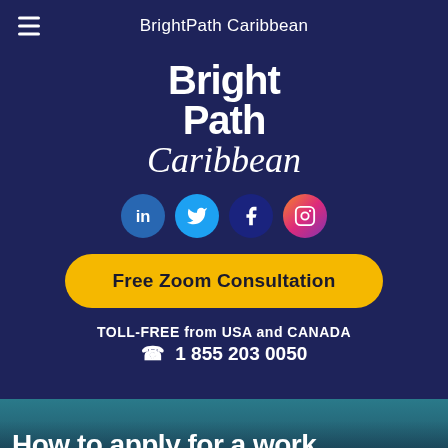BrightPath Caribbean
[Figure (logo): BrightPath Caribbean logo with bold white sans-serif text 'BrightPath' and italic serif 'Caribbean' below it, on dark navy background]
[Figure (infographic): Four circular social media icons in a row: LinkedIn (blue), Twitter (cyan), Facebook (dark blue), Instagram (gradient red-pink)]
Free Zoom Consultation
TOLL-FREE from USA and CANADA
1 855 203 0050
How to apply for a work permit in Sint Maarten